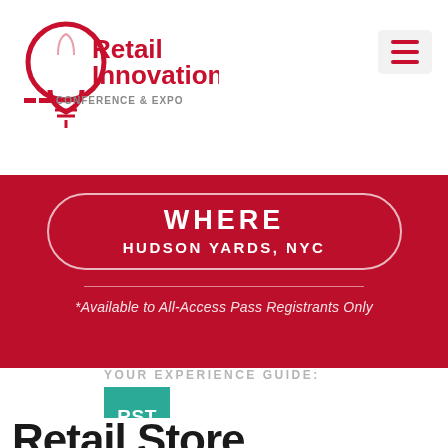[Figure (logo): Retail Innovation Conference & Expo logo — lightbulb icon with red text 'Retail Innovation' and 'CONFERENCE & EXPO' below]
[Figure (screenshot): Hamburger menu icon (three horizontal red lines on light gray background)]
WHERE
HUDSON YARDS, NYC
*Available to All-Access Pass Registrants Only
YOUR EXPERIENCE GUIDE:
[Figure (logo): RST teal square logo block]
Retail Store Tours™